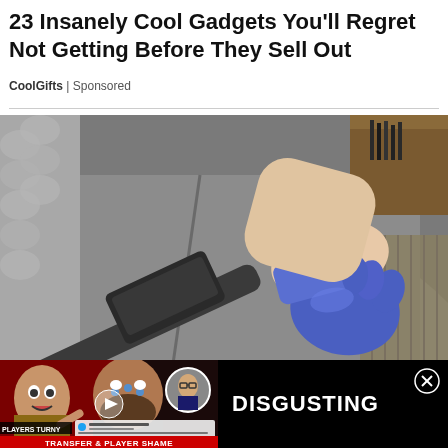23 Insanely Cool Gadgets You'll Regret Not Getting Before They Sell Out
CoolGifts | Sponsored
[Figure (photo): A hand wearing a blue latex glove holding a vacuum upholstery cleaning attachment against a grey fabric sofa/chair, cleaning it.]
[Figure (screenshot): Advertisement video thumbnail showing sports commentators and text 'PLAYERS TURNY - TRANSFER & PLAYER SHAME' overlaid on red background with faces of football personalities. Overlapping ad panel on right side shows 'DISGUSTING' text on black background with a close button.]